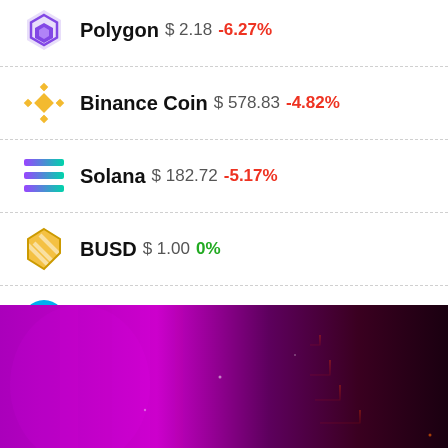Polygon $ 2.18 -6.27%
Binance Coin $ 578.83 -4.82%
Solana $ 182.72 -5.17%
BUSD $ 1.00 0%
The Sandbox $ 5.28 -1.27%
Cardano $ 1.31 -5.28%
[Figure (photo): Purple and dark-red tech circuit board background banner image]